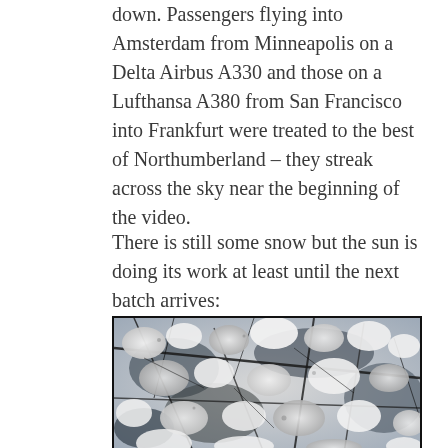down. Passengers flying into Amsterdam from Minneapolis on a Delta Airbus A330 and those on a Lufthansa A380 from San Francisco into Frankfurt were treated to the best of Northumberland – they streak across the sky near the beginning of the video.
There is still some snow but the sun is doing its work at least until the next batch arrives:
[Figure (photo): Black and white close-up photograph of snow-covered tree branches, showing fluffy clumps of snow on dark twigs against a light background.]